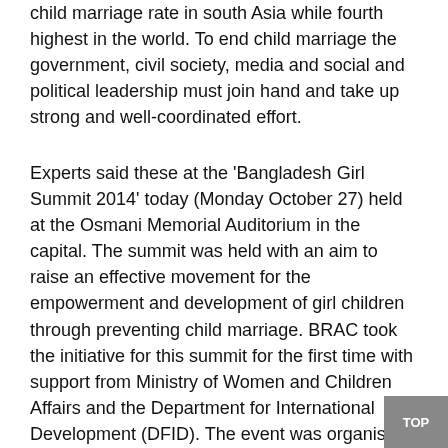child marriage rate in south Asia while fourth highest in the world. To end child marriage the government, civil society, media and social and political leadership must join hand and take up strong and well-coordinated effort.
Experts said these at the 'Bangladesh Girl Summit 2014' today (Monday October 27) held at the Osmani Memorial Auditorium in the capital. The summit was held with an aim to raise an effective movement for the empowerment and development of girl children through preventing child marriage. BRAC took the initiative for this summit for the first time with support from Ministry of Women and Children Affairs and the Department for International Development (DFID). The event was organised by the National Committee for Bangladesh Girl Summit 2014, a committee which was formed by 30 organisations including BRAC...